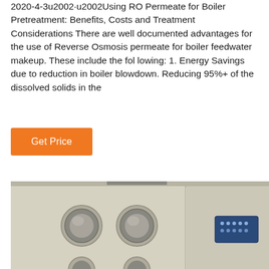2020-4-3u2002·u2002Using RO Permeate for Boiler Pretreatment: Benefits, Costs and Treatment Considerations There are well documented advantages for the use of Reverse Osmosis permeate for boiler feedwater makeup. These include the fol lowing: 1. Energy Savings due to reduction in boiler blowdown. Reducing 95%+ of the dissolved solids in the
[Figure (other): Orange 'Get Price' button]
[Figure (photo): Close-up photo of an industrial boiler or water treatment control panel unit, beige/gray colored, with two circular gauge ports on the left side and a small blue digital display panel on the right side.]